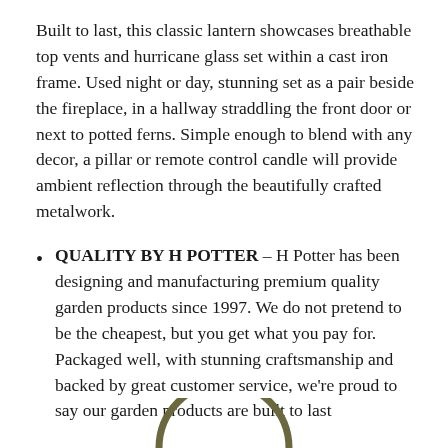Built to last, this classic lantern showcases breathable top vents and hurricane glass set within a cast iron frame. Used night or day, stunning set as a pair beside the fireplace, in a hallway straddling the front door or next to potted ferns. Simple enough to blend with any decor, a pillar or remote control candle will provide ambient reflection through the beautifully crafted metalwork.
QUALITY BY H POTTER – H Potter has been designing and manufacturing premium quality garden products since 1997. We do not pretend to be the cheapest, but you get what you pay for. Packaged well, with stunning craftsmanship and backed by great customer service, we're proud to say our garden products are built to last
[Figure (illustration): Partial arc/ring shape visible at bottom center of page, appearing to be the top of a circular lantern frame element in dark olive/bronze color.]